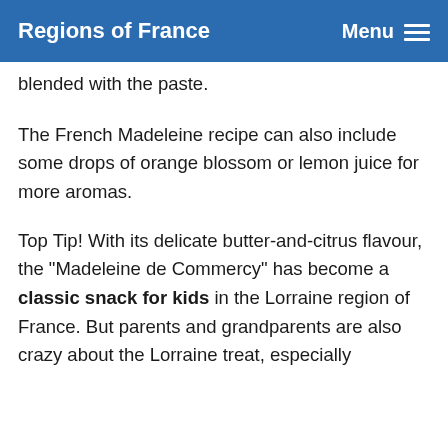Regions of France   Menu
blended with the paste.
The French Madeleine recipe can also include some drops of orange blossom or lemon juice for more aromas.
Top Tip! With its delicate butter-and-citrus flavour, the "Madeleine de Commercy" has become a classic snack for kids in the Lorraine region of France. But parents and grandparents are also crazy about the Lorraine treat, especially